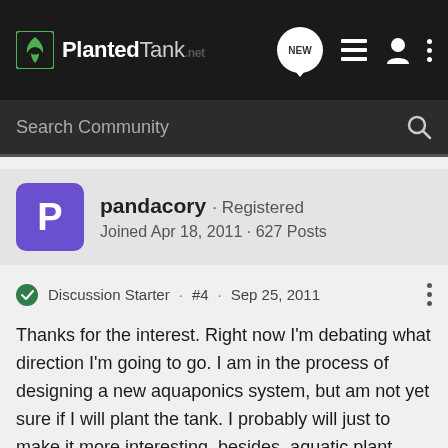PlantedTank · NEW · (navigation icons)
Search Community
pandacory · Registered
Joined Apr 18, 2011 · 627 Posts
Discussion Starter · #4 · Sep 25, 2011
Thanks for the interest. Right now I'm debating what direction I'm going to go. I am in the process of designing a new aquaponics system, but am not yet sure if I will plant the tank. I probably will just to make it more interesting, besides, aquatic plant culture is well supported by commercial aquaculturalists and aquaponics setups. Functionally, aquatic plants provide an amonia buffer during harvest, and crop rotation, also allowing for even greater stocking densities. Terrestrial plants prefer nitrates, and can actually suffer damage during amonia spikes in hydroponic solutions. The trick is not to have too much